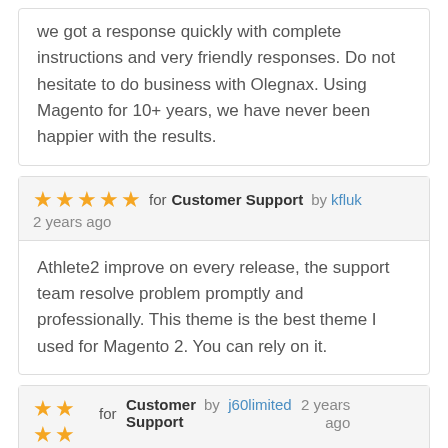we got a response quickly with complete instructions and very friendly responses. Do not hesitate to do business with Olegnax. Using Magento for 10+ years, we have never been happier with the results.
★★★★★ for Customer Support by kfluk 2 years ago
Athlete2 improve on every release, the support team resolve problem promptly and professionally. This theme is the best theme I used for Magento 2. You can rely on it.
★★★★ for Customer Support by j60limited 2 years ago
I have yet to find a better supported theme anywhere.